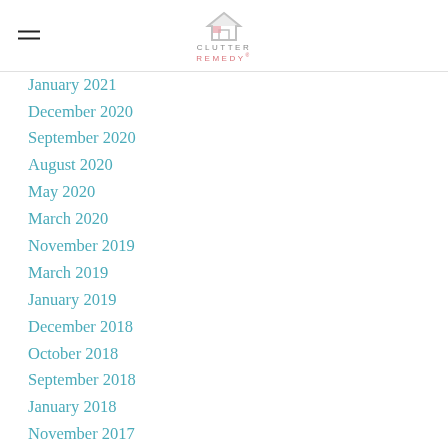Clutter Remedy
January 2021
December 2020
September 2020
August 2020
May 2020
March 2020
November 2019
March 2019
January 2019
December 2018
October 2018
September 2018
January 2018
November 2017
August 2017
July 2017
April 2017
February 2017